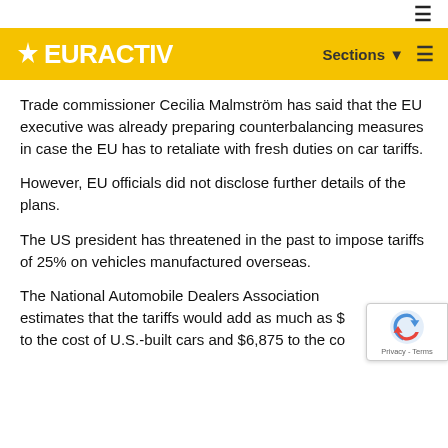EURACTIV — Sections
Trade commissioner Cecilia Malmström has said that the EU executive was already preparing counterbalancing measures in case the EU has to retaliate with fresh duties on car tariffs.
However, EU officials did not disclose further details of the plans.
The US president has threatened in the past to impose tariffs of 25% on vehicles manufactured overseas.
The National Automobile Dealers Association estimates that the tariffs would add as much as $... to the cost of U.S.-built cars and $6,875 to the co...